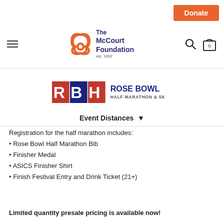Donate
[Figure (logo): The McCourt Foundation logo with Celtic triquetra knot and text 'The McCourt Foundation est. 1992']
[Figure (logo): Rose Bowl Half Marathon & 5K logo with RBH letters in red white and blue]
Event Distances ▼
Registration for the half marathon includes:
Rose Bowl Half Marathon Bib
Finisher Medal
ASICS Finisher Shirt
Finish Festival Entry and Drink Ticket (21+)
Limited quantity presale pricing is available now!